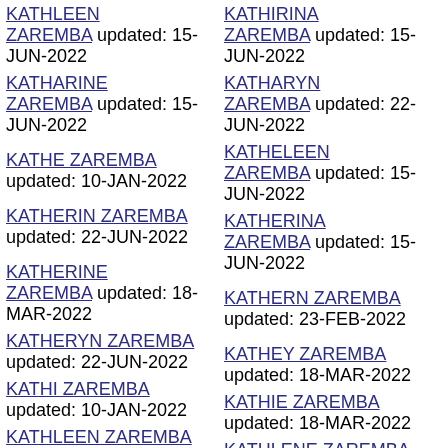KATHLEEN ZAREMBA updated: 15-JUN-2022
KATHARINE ZAREMBA updated: 15-JUN-2022
KATHE ZAREMBA updated: 10-JAN-2022
KATHERIN ZAREMBA updated: 22-JUN-2022
KATHERINE ZAREMBA updated: 18-MAR-2022
KATHERYN ZAREMBA updated: 22-JUN-2022
KATHI ZAREMBA updated: 10-JAN-2022
KATHLEEN ZAREMBA updated: 22-JUN-2022
KATHIRINA ZAREMBA updated: 15-JUN-2022
KATHARYN ZAREMBA updated: 22-JUN-2022
KATHELEEN ZAREMBA updated: 15-JUN-2022
KATHERINA ZAREMBA updated: 15-JUN-2022
KATHERN ZAREMBA updated: 23-FEB-2022
KATHEY ZAREMBA updated: 18-MAR-2022
KATHIE ZAREMBA updated: 18-MAR-2022
KATHLENE ZAREMBA updated: 22-JUN-2022